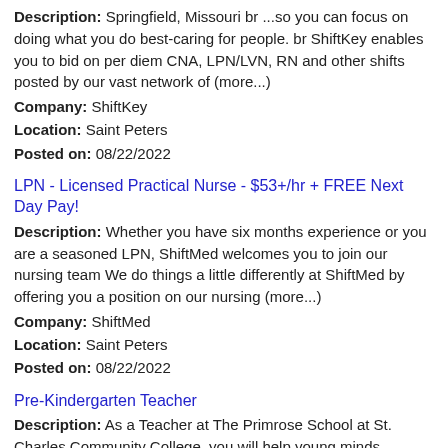Description: Springfield, Missouri br ...so you can focus on doing what you do best-caring for people. br ShiftKey enables you to bid on per diem CNA, LPN/LVN, RN and other shifts posted by our vast network of (more...)
Company: ShiftKey
Location: Saint Peters
Posted on: 08/22/2022
LPN - Licensed Practical Nurse - $53+/hr + FREE Next Day Pay!
Description: Whether you have six months experience or you are a seasoned LPN, ShiftMed welcomes you to join our nursing team We do things a little differently at ShiftMed by offering you a position on our nursing (more...)
Company: ShiftMed
Location: Saint Peters
Posted on: 08/22/2022
Pre-Kindergarten Teacher
Description: As a Teacher at The Primrose School at St. Charles Community College, you will help young minds explore, discover and understand the world around them. We are seeking an experienced and enthusiastic Pre-Kindergarten/Preschool (more...)